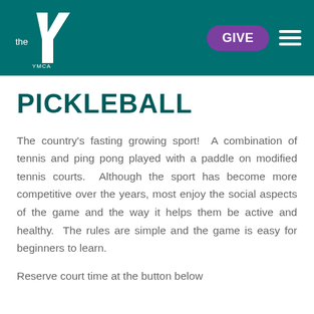the YMCA — GIVE [navigation menu]
PICKLEBALL
The country's fasting growing sport!  A combination of tennis and ping pong played with a paddle on modified tennis courts.  Although the sport has become more competitive over the years, most enjoy the social aspects of the game and the way it helps them be active and healthy.  The rules are simple and the game is easy for beginners to learn.
Reserve court time at the button below